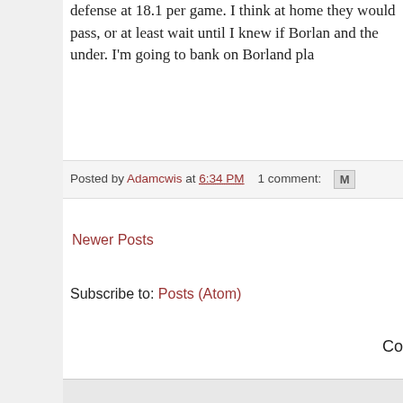defense at 18.1 per game. I think at home they would pass, or at least wait until I knew if Borlan and the under. I'm going to bank on Borland pla
Posted by Adamcwis at 6:34 PM   1 comment:
Newer Posts
Subscribe to: Posts (Atom)
Co